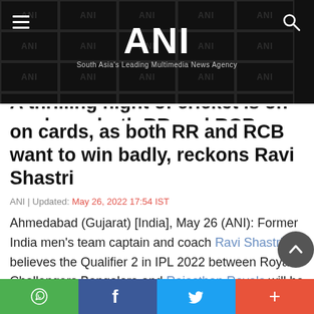ANI — South Asia's Leading Multimedia News Agency
on cards, as both RR and RCB want to win badly, reckons Ravi Shastri
ANI | Updated: May 26, 2022 17:54 IST
Ahmedabad (Gujarat) [India], May 26 (ANI): Former India men's team captain and coach Ravi Shastri believes the Qualifier 2 in IPL 2022 between Royal Challengers Bangalore and Rajasthan Royals will be a royal affair as both the